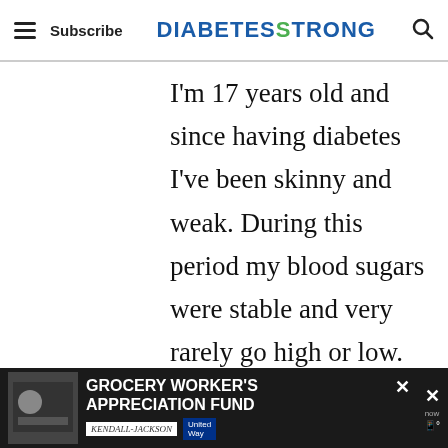Subscribe | DIABETES STRONG
I'm 17 years old and since having diabetes I've been skinny and weak. During this period my blood sugars were stable and very rarely go high or low. I've always wanted to change my current body into a body I feel confident and have a good physique so 2 weeks ago I began my journey. I
[Figure (infographic): Teal circular heart/like button with 198 likes count below it, and a teal share button beneath]
[Figure (infographic): Dark advertisement banner: Grocery Worker's Appreciation Fund with Kendall Jackson and United Way logos]